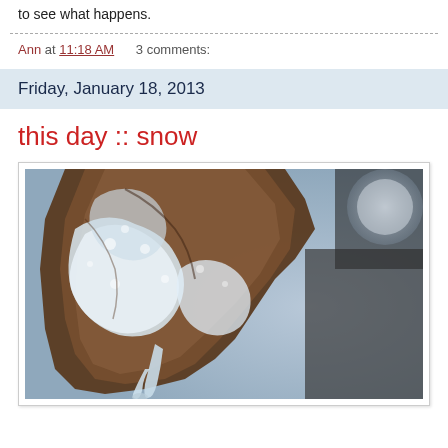to see what happens.
Ann at 11:18 AM    3 comments:
Friday, January 18, 2013
this day :: snow
[Figure (photo): Close-up macro photograph of ice and snow crystals forming on a rocky or rusty surface, with a blurred cylindrical object (pipe or post) in the upper right background and a light blue-grey blurred background.]